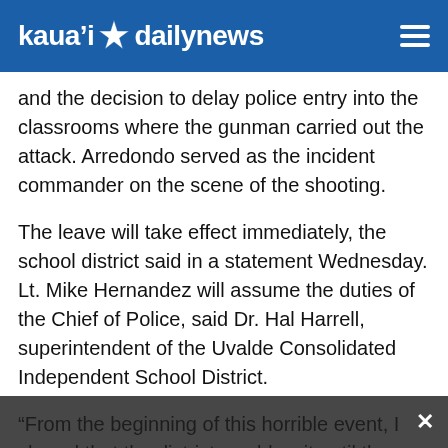kaua'i daily news
and the decision to delay police entry into the classrooms where the gunman carried out the attack. Arredondo served as the incident commander on the scene of the shooting.
The leave will take effect immediately, the school district said in a statement Wednesday. Lt. Mike Hernandez will assume the duties of the Chief of Police, said Dr. Hal Harrell, superintendent of the Uvalde Consolidated Independent School District.
“From the beginning of this horrible event, I shared that the district would wait until the investigation was complete before making personnel decisions,” Harrell said. “Today, I am still without details of the investigations being conducted by various agencies. Because of the lack of clarity that remains and the unknown timing of when I will receive the results of the investigations, I have made the decision to